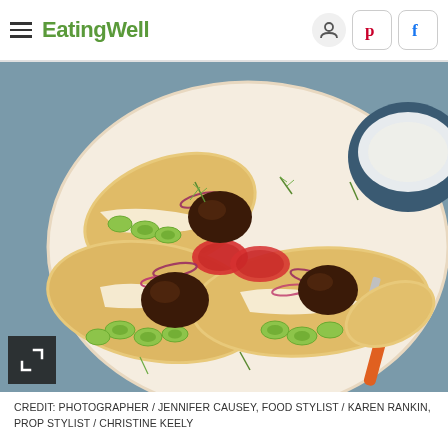EatingWell
[Figure (photo): A white ceramic plate with three open-faced pita flatbreads topped with meat kofta balls, sliced cucumbers, red tomatoes, red onion rings, and fresh dill. A small blue bowl of tzatziki sauce with a spoon is visible in the upper right. The plate sits on a blue linen cloth background.]
CREDIT: PHOTOGRAPHER / JENNIFER CAUSEY, FOOD STYLIST / KAREN RANKIN, PROP STYLIST / CHRISTINE KEELY